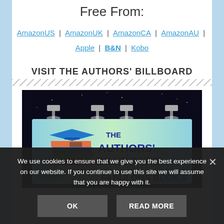Free From:
AmazonUS | AmazonUK | AmazonCA | AmazonAU | Apple | B&N | Kobo
VISIT THE AUTHORS' BILLBOARD
[Figure (screenshot): The Authors' Billboard promotional banner showing spotlights on a dark background with 'THE AUTHORS' BILLBOARD' text in blue and 'FABULOUS BOOKS' text, along with a stack of colorful books graphic and 'Follow us!' text.]
We use cookies to ensure that we give you the best experience on our website. If you continue to use this site we will assume that you are happy with it.